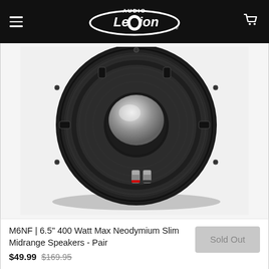Audio Legion (logo) — navigation header with menu and cart
[Figure (photo): A black 6.5 inch midrange speaker with a silver dome center, rubber surround, and two terminal connectors visible at the bottom, photographed against a white background.]
M6NF | 6.5" 400 Watt Max Neodymium Slim Midrange Speakers - Pair
$49.99  $169.95